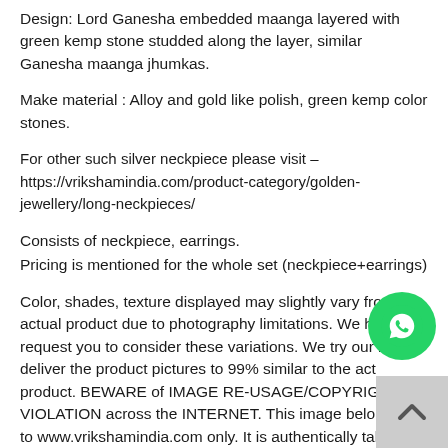Design: Lord Ganesha embedded maanga layered with green kemp stone studded along the layer, similar Ganesha maanga jhumkas.
Make material : Alloy and gold like polish, green kemp color stones.
For other such silver neckpiece please visit – https://vrikshamindia.com/product-category/golden-jewellery/long-neckpieces/
Consists of neckpiece, earrings.
Pricing is mentioned for the whole set (neckpiece+earrings)
Color, shades, texture displayed may slightly vary from the actual product due to photography limitations. We humbly request you to consider these variations. We try our best to deliver the product pictures to 99% similar to the actual product. BEWARE of IMAGE RE-USAGE/COPYRIGHT VIOLATION across the INTERNET. This image belongs to www.vrikshamindia.com only. It is authentically taken by our in-